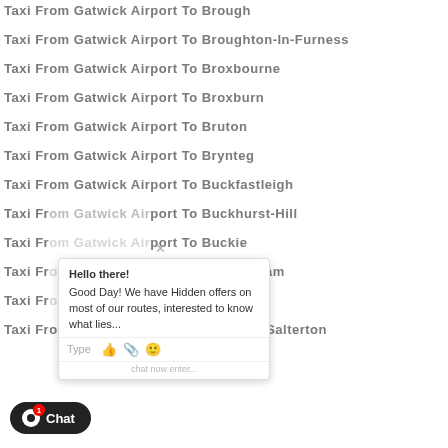Taxi From Gatwick Airport To Brough
Taxi From Gatwick Airport To Broughton-In-Furness
Taxi From Gatwick Airport To Broxbourne
Taxi From Gatwick Airport To Broxburn
Taxi From Gatwick Airport To Bruton
Taxi From Gatwick Airport To Brynteg
Taxi From Gatwick Airport To Buckfastleigh
Taxi From Gatwick Airport To Buckhurst-Hill
Taxi From Gatwick Airport To Buckie
Taxi From Gatwick Airport To Buckingham
Taxi From Gatwick Airport To Bude
Taxi From Gatwick Airport To Budleigh-Salterton
[Figure (screenshot): Chat popup overlay with message 'Hello there! Good Day! We have Hidden offers on most of our routes, interested to know what lies...' and input bar with Type label and icons]